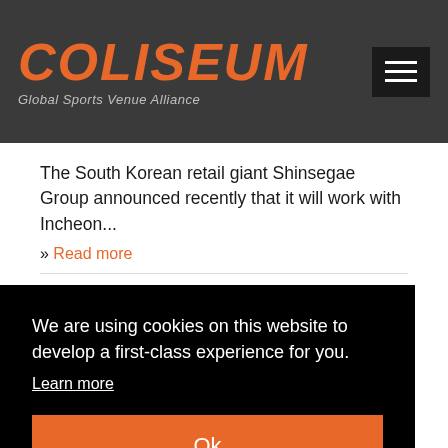COLISEUM – Global Sports Venue Alliance
The South Korean retail giant Shinsegae Group announced recently that it will work with Incheon...
» Read more
Surrey Mayor venue plans termed poll gimmick
We are using cookies on this website to develop a first-class experience for you.
Learn more
Ok